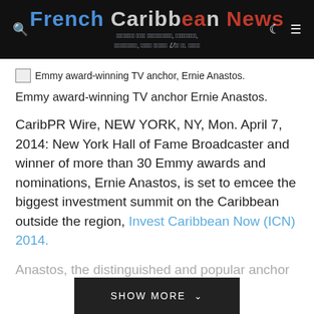French Caribbean News – News From Guadeloupe, Martinique, French Guiana, Saint Martin And St. Barths
[Figure (photo): Broken image placeholder for Emmy award-winning TV anchor, Ernie Anastos.]
Emmy award-winning TV anchor Ernie Anastos.
CaribPR Wire, NEW YORK, NY, Mon. April 7, 2014: New York Hall of Fame Broadcaster and winner of more than 30 Emmy awards and nominations, Ernie Anastos, is set to emcee the biggest investment summit on the Caribbean outside the region, Invest Caribbean Now (ICN) 2014.
Anastos, the distinguished and popular anchor for the FOX flagship station WNYW-TV in New York, will serve as host